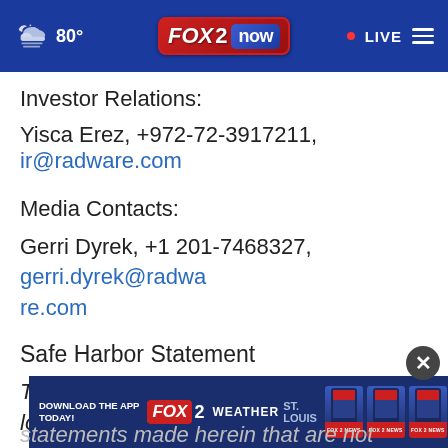[Figure (screenshot): FOX 2 Now website header bar with weather icon showing 80°, FOX 2 now logo in center, and LIVE indicator with hamburger menu on the right, on a dark blue background]
Investor Relations:
Yisca Erez, +972-72-3917211, ir@radware.com
Media Contacts:
Gerri Dyrek, +1 201-7468327, gerri.dyrek@radware.com
Safe Harbor Statement
This press release includes “forward-looking statements” within the meaning of the Private Securities
[Figure (screenshot): FOX 2 advertisement banner saying DOWNLOAD THE APP TODAY! with FOX 2 WEATHER ST. LOUIS branding and phone images. Includes a close (X) button overlay.]
statements made herein that are not statements